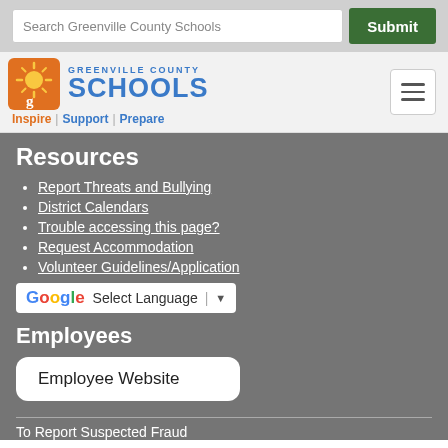Search Greenville County Schools | Submit
[Figure (logo): Greenville County Schools logo with sun icon, text GREENVILLE COUNTY SCHOOLS and tagline Inspire | Support | Prepare]
Resources
Report Threats and Bullying
District Calendars
Trouble accessing this page?
Request Accommodation
Volunteer Guidelines/Application
[Figure (screenshot): Google Translate widget with G logo, Select Language label, and dropdown arrow]
Employees
Employee Website
To Report Suspected Fraud